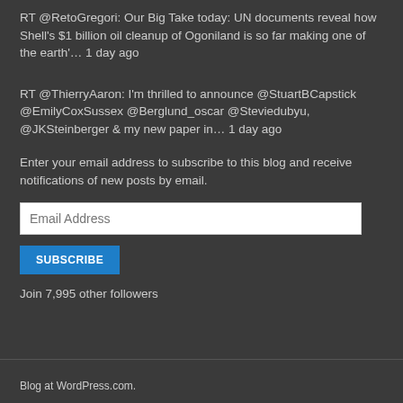RT @RetoGregori: Our Big Take today: UN documents reveal how Shell's $1 billion oil cleanup of Ogoniland is so far making one of the earth'... 1 day ago
RT @ThierryAaron: I'm thrilled to announce @StuartBCapstick @EmilyCoxSussex @Berglund_oscar @Steviedubyu, @JKSteinberger & my new paper in... 1 day ago
Enter your email address to subscribe to this blog and receive notifications of new posts by email.
Join 7,995 other followers
Blog at WordPress.com.